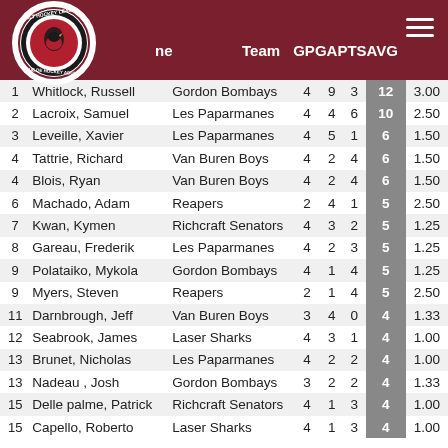Adult Hockey League - Player Stats
| # | Name | Team | GP | G | A | PTS | AVG |
| --- | --- | --- | --- | --- | --- | --- | --- |
| 1 | Whitlock, Russell | Gordon Bombays | 4 | 9 | 3 | 12 | 3.00 |
| 2 | Lacroix, Samuel | Les Paparmanes | 4 | 4 | 6 | 10 | 2.50 |
| 3 | Leveille, Xavier | Les Paparmanes | 4 | 5 | 1 | 6 | 1.50 |
| 4 | Tattrie, Richard | Van Buren Boys | 4 | 2 | 4 | 6 | 1.50 |
| 4 | Blois, Ryan | Van Buren Boys | 4 | 2 | 4 | 6 | 1.50 |
| 6 | Machado, Adam | Reapers | 2 | 4 | 1 | 5 | 2.50 |
| 7 | Kwan, Kymen | Richcraft Senators | 4 | 3 | 2 | 5 | 1.25 |
| 8 | Gareau, Frederik | Les Paparmanes | 4 | 2 | 3 | 5 | 1.25 |
| 9 | Polataiko, Mykola | Gordon Bombays | 4 | 1 | 4 | 5 | 1.25 |
| 9 | Myers, Steven | Reapers | 2 | 1 | 4 | 5 | 2.50 |
| 11 | Darnbrough, Jeff | Van Buren Boys | 3 | 4 | 0 | 4 | 1.33 |
| 12 | Seabrook, James | Laser Sharks | 4 | 3 | 1 | 4 | 1.00 |
| 13 | Brunet, Nicholas | Les Paparmanes | 4 | 2 | 2 | 4 | 1.00 |
| 13 | Nadeau , Josh | Gordon Bombays | 3 | 2 | 2 | 4 | 1.33 |
| 15 | Delle palme, Patrick | Richcraft Senators | 4 | 1 | 3 | 4 | 1.00 |
| 15 | Capello, Roberto | Laser Sharks | 4 | 1 | 3 | 4 | 1.00 |